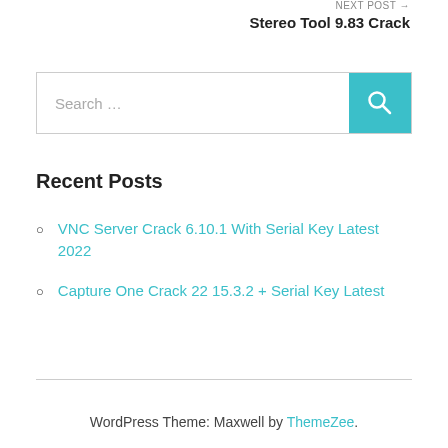NEXT POST →
Stereo Tool 9.83 Crack
[Figure (other): Search bar with teal search button and magnifying glass icon]
Recent Posts
VNC Server Crack 6.10.1 With Serial Key Latest 2022
Capture One Crack 22 15.3.2 + Serial Key Latest
WordPress Theme: Maxwell by ThemeZee.